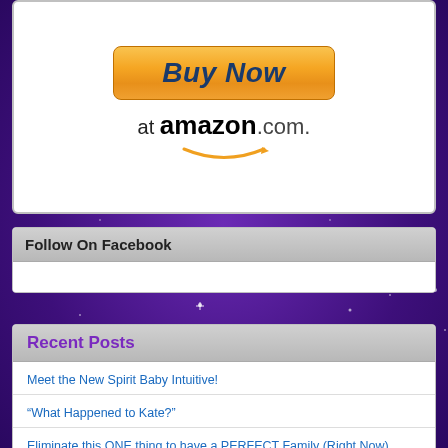[Figure (logo): Buy Now button with orange gradient and italic bold text, and amazon.com logo with orange smile arrow below]
Follow On Facebook
Recent Posts
Meet the New Spirit Baby Intuitive!
“What Happened to Kate?”
Eliminate this ONE thing to have a PERFECT Family (Right Now)
Families of Light: What They Are, What They are NOT
“Do I still WANT a Baby?” When the yearning wanes…
What’s (Self) Love Got To Do With It?
Divine Rewiring in Process/ONE Golden Egg